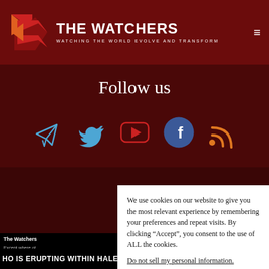THE WATCHERS — WATCHING THE WORLD EVOLVE AND TRANSFORM
Follow us
[Figure (illustration): Five social media icons: Telegram (blue paper plane), Twitter (blue bird), YouTube (red play button), Facebook (blue circle with f), RSS (orange wifi-style icon)]
The Watchers
Except where otherwise noted, content on this site is licensed under a Creativ...
We use cookies on our website to give you the most relevant experience by remembering your preferences and repeat visits. By clicking “Accept”, you consent to the use of ALL the cookies.
Do not sell my personal information.
Cookie settings
Accept
HO IS ERUPTING WITHIN HALEMA’UMA’U CRATER. THE CURREN